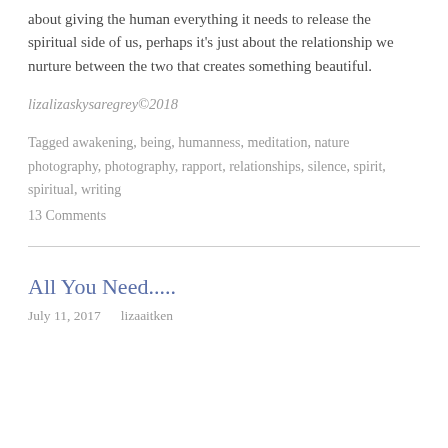about giving the human everything it needs to release the spiritual side of us, perhaps it's just about the relationship we nurture between the two that creates something beautiful.
lizalizaskysaregrey©2018
Tagged awakening, being, humanness, meditation, nature photography, photography, rapport, relationships, silence, spirit, spiritual, writing
13 Comments
All You Need.....
July 11, 2017    lizaaitken